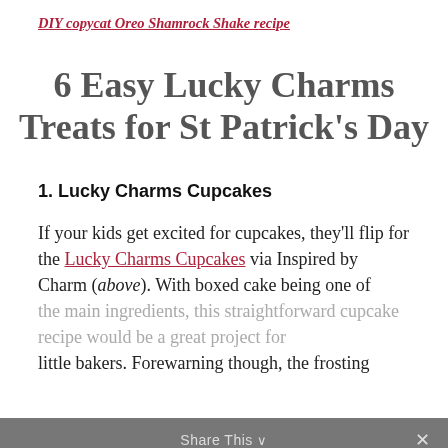DIY copycat Oreo Shamrock Shake recipe
6 Easy Lucky Charms Treats for St Patrick's Day
1. Lucky Charms Cupcakes
If your kids get excited for cupcakes, they'll flip for the Lucky Charms Cupcakes via Inspired by Charm (above). With boxed cake being one of the main ingredients, this straightforward cupcake recipe would be a great project for little bakers. Forewarning though, the frosting does contain Crisco, so if you're not a fan, you
Share This